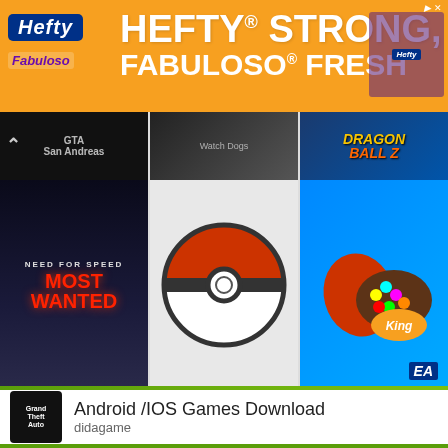[Figure (screenshot): Hefty and Fabuloso advertisement banner with orange background. Text reads HEFTY STRONG, FABULOSO FRESH.]
[Figure (screenshot): Grid of mobile game thumbnails: GTA, Watch Dogs-style game, Dragon Ball Z in top row; Need for Speed Most Wanted, Pokemon Go Pokeball, Candy Crush Saga in middle row.]
Android /IOS Games Download
didagame
[Figure (screenshot): Bottom partial grid showing Grand Theft Auto, Fortnite, and Dragon Ball Z game thumbnails, with a scroll-up button overlay.]